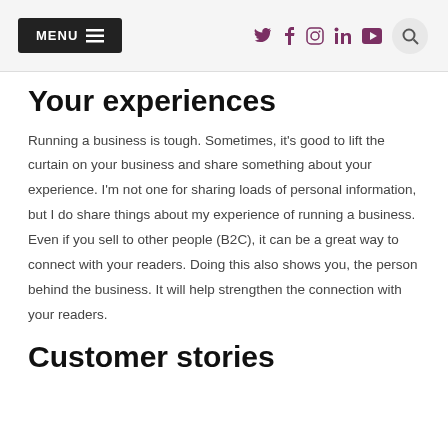MENU | social icons: twitter, facebook, instagram, linkedin, youtube | search
Your experiences
Running a business is tough. Sometimes, it's good to lift the curtain on your business and share something about your experience. I'm not one for sharing loads of personal information, but I do share things about my experience of running a business. Even if you sell to other people (B2C), it can be a great way to connect with your readers. Doing this also shows you, the person behind the business. It will help strengthen the connection with your readers.
Customer stories